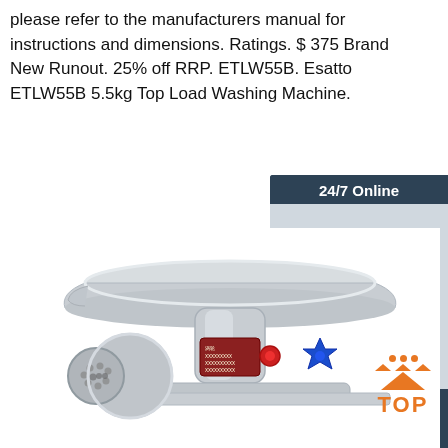please refer to the manufacturers manual for instructions and dimensions. Ratings. $ 375 Brand New Runout. 25% off RRP. ETLW55B. Esatto ETLW55B 5.5kg Top Load Washing Machine.
[Figure (infographic): 24/7 Online chat panel with a photo of a female customer service agent wearing a headset, with 'Click here for free chat!' and a QUOTATION button]
Get Price
[Figure (photo): A stainless steel commercial meat grinder with a large tray on top, a red-labeled motor unit, a blue star-shaped knob, and a circular grinding plate on the left side.]
[Figure (other): TOP badge logo in orange with dots arranged in a triangle pattern above the word TOP]